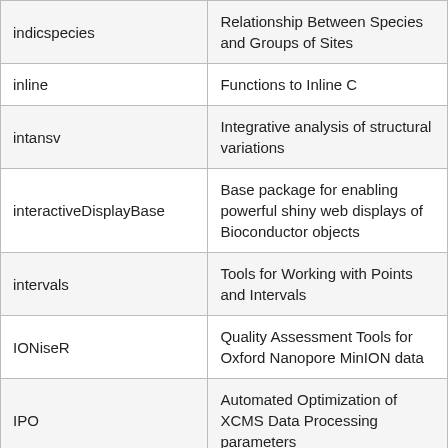| Package | Description |
| --- | --- |
| indicspecies | Relationship Between Species and Groups of Sites |
| inline | Functions to Inline C |
| intansv | Integrative analysis of structural variations |
| interactiveDisplayBase | Base package for enabling powerful shiny web displays of Bioconductor objects |
| intervals | Tools for Working with Points and Intervals |
| IONiseR | Quality Assessment Tools for Oxford Nanopore MinION data |
| IPO | Automated Optimization of XCMS Data Processing parameters |